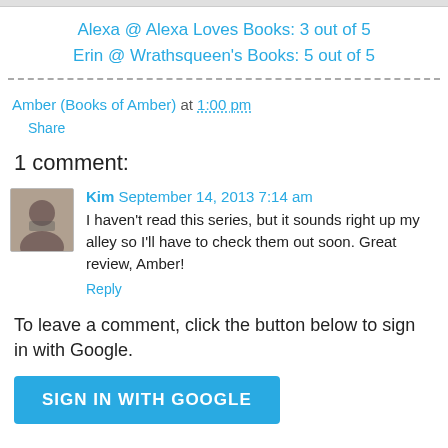Alexa @ Alexa Loves Books: 3 out of 5
Erin @ Wrathsqueen's Books: 5 out of 5
Amber (Books of Amber) at 1:00 pm
Share
1 comment:
Kim  September 14, 2013 7:14 am
I haven't read this series, but it sounds right up my alley so I'll have to check them out soon. Great review, Amber!
Reply
To leave a comment, click the button below to sign in with Google.
SIGN IN WITH GOOGLE